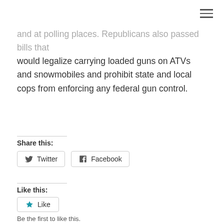and at polling places. Republicans also passed bills that would legalize carrying loaded guns on ATVs and snowmobiles and prohibit state and local cops from enforcing any federal gun control.
Share this:
Twitter Facebook
Like this:
Like
Be the first to like this.
Categories: GUN VIOLENCE
Tags: firearms  Gun violence  Guns  libertarian  NH  Progressive